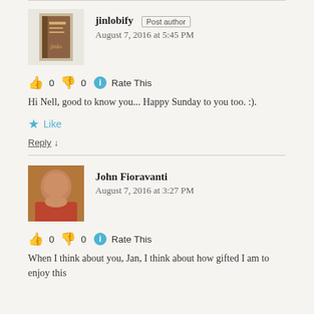jinlobify Post author
August 7, 2016 at 5:45 PM
👍 0 👎 0 ℹ Rate This
Hi Nell, good to know you... Happy Sunday to you too. :).
★ Like
Reply ↓
John Fioravanti
August 7, 2016 at 3:27 PM
👍 0 👎 0 ℹ Rate This
When I think about you, Jan, I think about how gifted I am to enjoy this